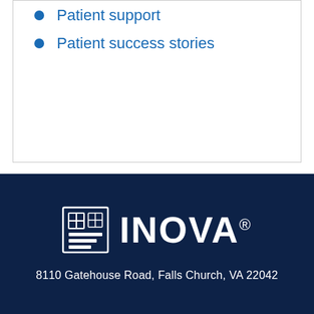Patient support
Patient success stories
[Figure (logo): Inova Health System logo — square icon with stylized cross/hospital symbol on left, INOVA® wordmark on right, white on dark navy background]
8110 Gatehouse Road, Falls Church, VA 22042